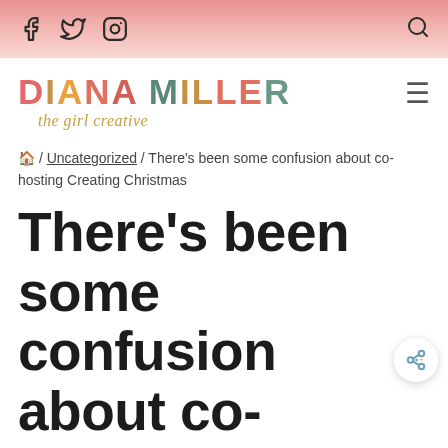Social icons (Facebook, Twitter, Instagram) and search icon
[Figure (logo): Diana Miller - the girl creative blog logo with colorful block letters and gold cursive subtitle]
🏠 / Uncategorized / There's been some confusion about co-hosting Creating Christmas
There's been some confusion about co-hosting Creating Christmas